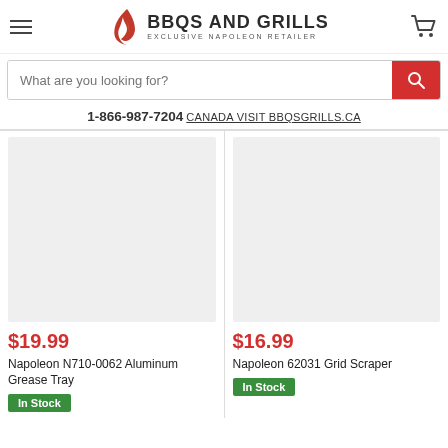BBQS AND GRILLS — EXCLUSIVE NAPOLEON RETAILER
What are you looking for?
1-866-987-7204 CANADA VISIT BBQSGRILLS.CA
[Figure (photo): Product image placeholder (light gray rectangle) for Napoleon N710-0062 Aluminum Grease Tray]
$19.99
Napoleon N710-0062 Aluminum Grease Tray
In Stock
[Figure (photo): Product image placeholder (light gray rectangle) for Napoleon 62031 Grid Scraper]
$16.99
Napoleon 62031 Grid Scraper
In Stock